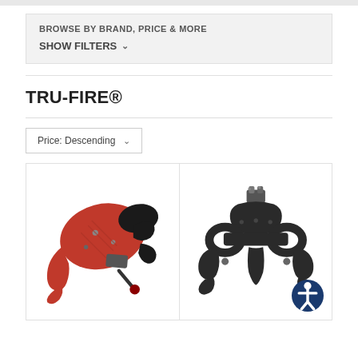BROWSE BY BRAND, PRICE & MORE
SHOW FILTERS
TRU-FIRE®
Price: Descending
[Figure (photo): Two archery release aids on a product listing page. Left: red and black mechanical bow release with wrist strap connector. Right: black three-finger bow release with finger loops.]